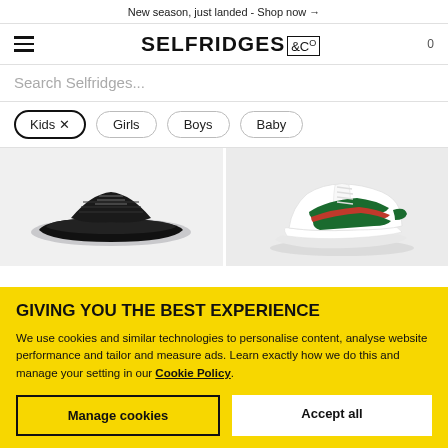New season, just landed - Shop now →
[Figure (logo): Selfridges & Co logo with hamburger menu and cart icon showing 0]
Search Selfridges...
Kids ×  Girls  Boys  Baby
[Figure (photo): Two product images: left shows black slide sandal on grey background, right shows white Gucci-style sneaker with green and red stripe on grey background]
GIVING YOU THE BEST EXPERIENCE
We use cookies and similar technologies to personalise content, analyse website performance and tailor and measure ads. Learn exactly how we do this and manage your setting in our Cookie Policy.
Manage cookies   Accept all